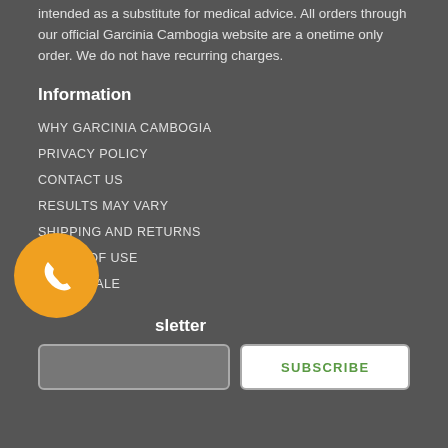intended as a substitute for medical advice. All orders through our official Garcinia Cambogia website are a onetime only order. We do not have recurring charges.
Information
WHY GARCINIA CAMBOGIA
PRIVACY POLICY
CONTACT US
RESULTS MAY VARY
SHIPPING AND RETURNS
TERMS OF USE
WHOLSEALE
FAQ
[Figure (illustration): Orange circular phone call button with white phone handset icon]
Newsletter
Email input field and SUBSCRIBE button